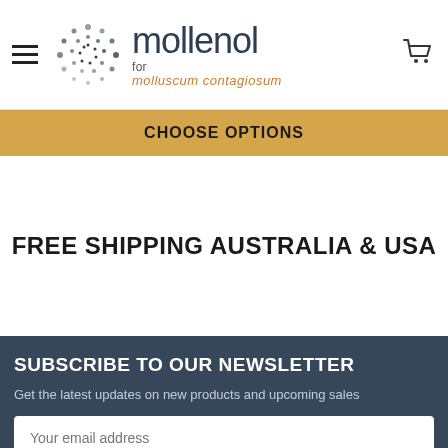mollenol — for molluscum contagiosum
CHOOSE OPTIONS
FREE SHIPPING AUSTRALIA & USA
SUBSCRIBE TO OUR NEWSLETTER
Get the latest updates on new products and upcoming sales
Your email address
SUBSCRIBE